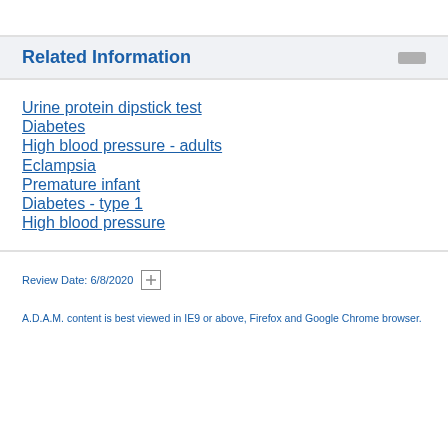Related Information
Urine protein dipstick test
Diabetes
High blood pressure - adults
Eclampsia
Premature infant
Diabetes - type 1
High blood pressure
Review Date: 6/8/2020
A.D.A.M. content is best viewed in IE9 or above, Firefox and Google Chrome browser.